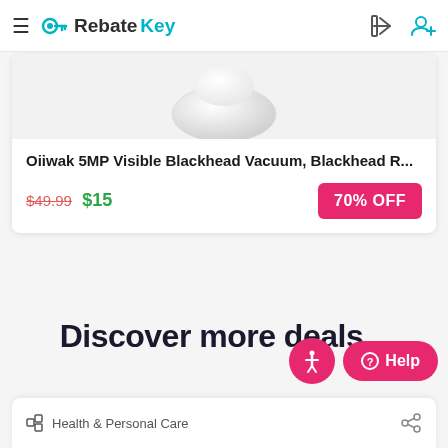RebateKey
[Figure (photo): Product image of a white vacuum device on a light gray background]
Oiiwak 5MP Visible Blackhead Vacuum, Blackhead R...
$49.99 $15 70% OFF
Discover more deals...
Health & Personal Care